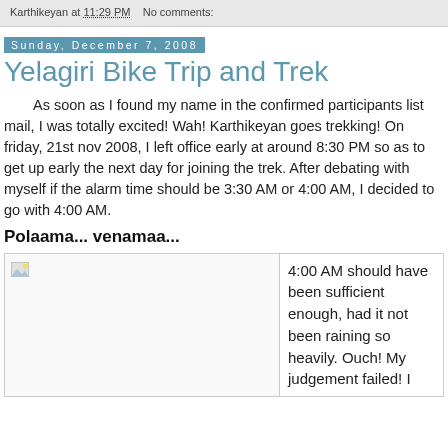Karthikeyan at 11:29 PM   No comments:
Sunday, December 7, 2008
Yelagiri Bike Trip and Trek
As soon as I found my name in the confirmed participants list mail, I was totally excited! Wah! Karthikeyan goes trekking! On friday, 21st nov 2008, I left office early at around 8:30 PM so as to get up early the next day for joining the trek. After debating with myself if the alarm time should be 3:30 AM or 4:00 AM, I decided to go with 4:00 AM.
Polaama... venamaa...
[Figure (photo): Image placeholder with broken image icon, accompanied by side text about 4:00 AM rain]
4:00 AM should have been sufficient enough, had it not been raining so heavily. Ouch! My judgement failed! I